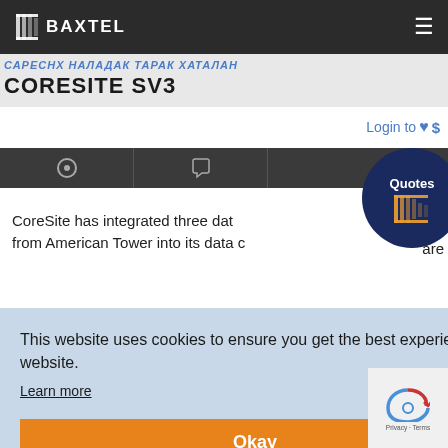Baxtel
CORESITE SV3
Login to ♥ $
CoreeSite has integrated three data from American Tower into its data c... are
This website uses cookies to ensure you get the best experience on our website. Learn more
Okay